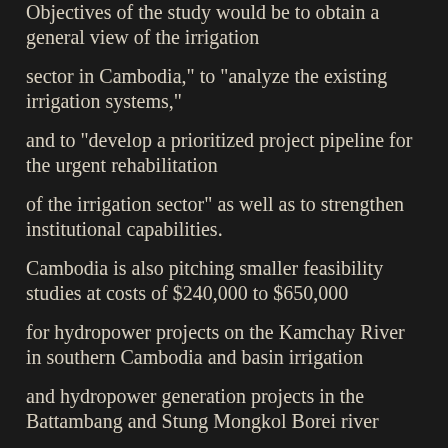Objectives of the study would be to obtain a general view of the irrigation
sector in Cambodia," to "analyze the existing irrigation systems,"
and to "develop a prioritized project pipeline for the urgent rehabilitation
of the irrigation sector" as well as to strengthen institutional capabilities.
Cambodia is also pitching smaller feasibility studies at costs of $240,000 to $650,000
for hydropower projects on the Kamchay River in southern Cambodia and basin irrigation
and hydropower generation projects in the Battambang and Stung Mongkol Borei river
Basins in the northwest.
These project plans also include updating a hydrographic atlas "including information
on topographic feature of the Mekong corridor covering the